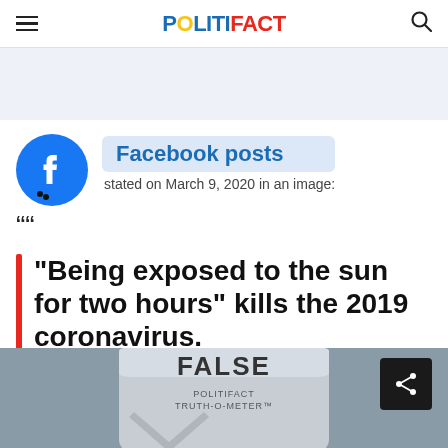POLITIFACT
[Figure (logo): Facebook logo icon (blue circle with white F)]
Facebook posts
stated on March 9, 2020 in an image:
"Being exposed to the sun for two hours" kills the 2019 coronavirus.
[Figure (photo): PolitiFact Truth-O-Meter widget showing FALSE rating]